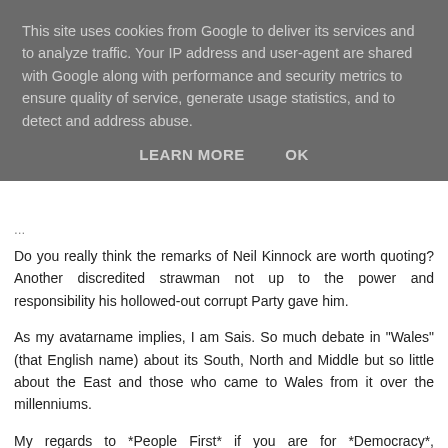This site uses cookies from Google to deliver its services and to analyze traffic. Your IP address and user-agent are shared with Google along with performance and security metrics to ensure quality of service, generate usage statistics, and to detect and address abuse.
LEARN MORE    OK
...
Do you really think the remarks of Neil Kinnock are worth quoting? Another discredited strawman not up to the power and responsibility his hollowed-out corrupt Party gave him.
As my avatarname implies, I am Sais. So much debate in "Wales" (that English name) about its South, North and Middle but so little about the East and those who came to Wales from it over the millenniums.
My regards to *People First* if you are for *Democracy*, *Accountability*, *Transparency* and (crucially) _active_ *Citizenship*.
Reply